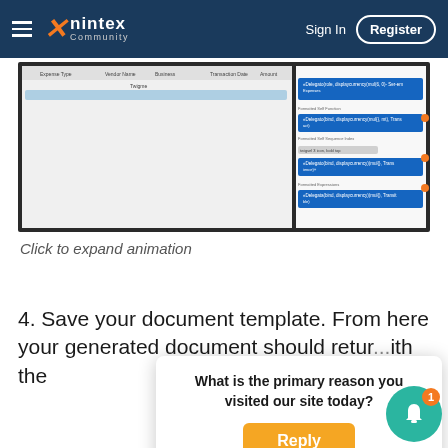nintex Community — Sign In | Register
[Figure (screenshot): Screenshot of a Nintex document template editor showing a table with columns (Expense Type, Vendor Name, Business, Transaction Date, Amount) on the left, and a formula/expression panel on the right with blue highlighted expression boxes.]
Click to expand animation
4. Save your document template. From here your generated document should retur...ith the
What is the primary reason you visited our site today?
Reply